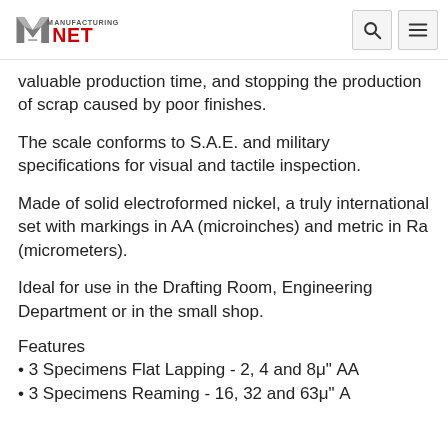Manufacturing NET
valuable production time, and stopping the production of scrap caused by poor finishes.
The scale conforms to S.A.E. and military specifications for visual and tactile inspection.
Made of solid electroformed nickel, a truly international set with markings in AA (microinches) and metric in Ra (micrometers).
Ideal for use in the Drafting Room, Engineering Department or in the small shop.
Features
• 3 Specimens Flat Lapping - 2, 4 and 8μ" AA
• 3 Specimens Reaming - 16, 32 and 63μ" A...